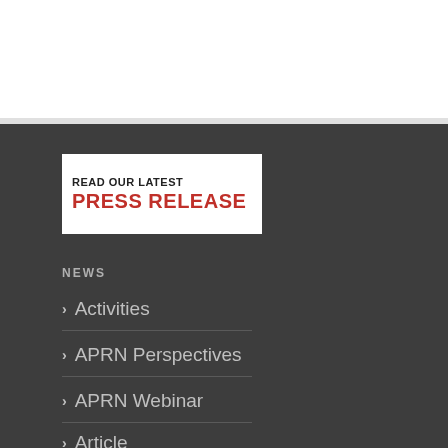[Figure (other): Press release banner with white background. Text reads 'READ OUR LATEST' in small bold black uppercase, and 'PRESS RELEASE' in large bold red uppercase below.]
NEWS
> Activities
> APRN Perspectives
> APRN Webinar
> Article
> ASEAN SPOT